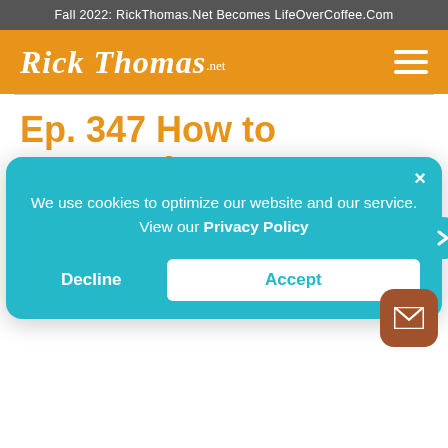Fall 2022: RickThomas.Net Becomes LifeOverCoffee.Com
[Figure (logo): Rick Thomas .net logo in white script text on orange background with hamburger menu icon]
Ep. 347 How to Respond When the Church
We use cookies to optimize our website and our service. View our Privacy Policy
Decline
Accept